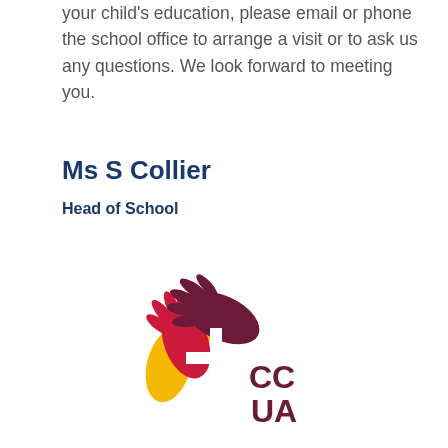your child's education, please email or phone the school office to arrange a visit or to ask us any questions. We look forward to meeting you.
Ms S Collier
Head of School
[Figure (logo): CCUA school logo featuring three overlapping hands in dark maroon/purple, red/crimson, and orange/yellow arranged in a fan/cross pattern, with the letters CC above and UA below in dark maroon to the right of the hands.]